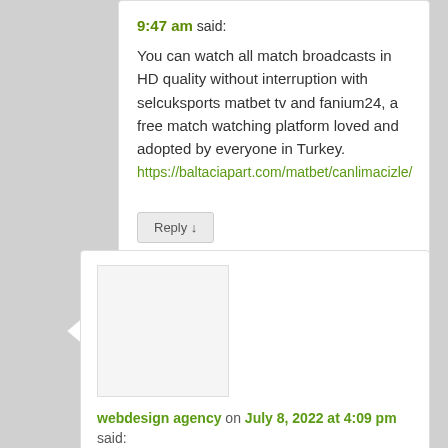9:47 am said: You can watch all match broadcasts in HD quality without interruption with selcuksports matbet tv and fanium24, a free match watching platform loved and adopted by everyone in Turkey. https://baltaciapart.com/matbet/canlimacizle/
Reply ↓
[Figure (other): Avatar placeholder image box (white/light grey square)]
webdesign agency on July 8, 2022 at 4:09 pm said: https://vallettasoft.nl/nl/ VallettaSoft maakt gebruik van de meest recente en bewezen design tools, werkprocessen, doelgroep & industrie analyse om uw behoeftes te